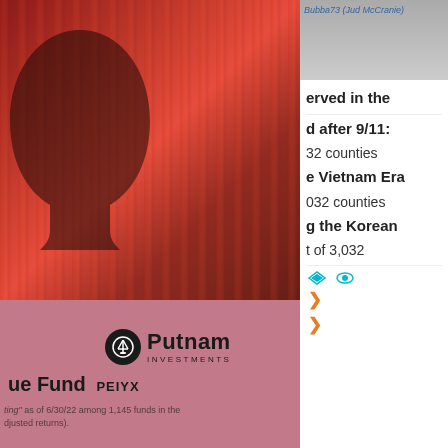[Figure (illustration): Abstract red striped pattern with a human face silhouette on the left panel top portion]
[Figure (logo): Putnam Investments logo with scales of justice icon]
ue Fund PEIYX
ting" as of 6/30/22 among 1,145 funds in the djusted returns).
erved in the
d after 9/11:
32 counties
e Vietnam Era
032 counties
g the Korean
t of 3,032
[Figure (screenshot): Wikipedia user credit — Bubba73 (Jud McCranie) — top right corner thumbnail]